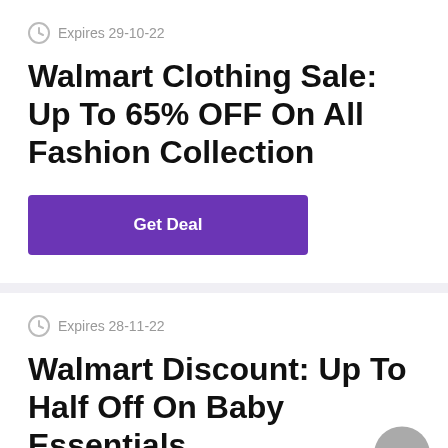Expires 29-10-22
Walmart Clothing Sale: Up To 65% OFF On All Fashion Collection
Get Deal
Expires 28-11-22
Walmart Discount: Up To Half Off On Baby Essentials
Get Deal